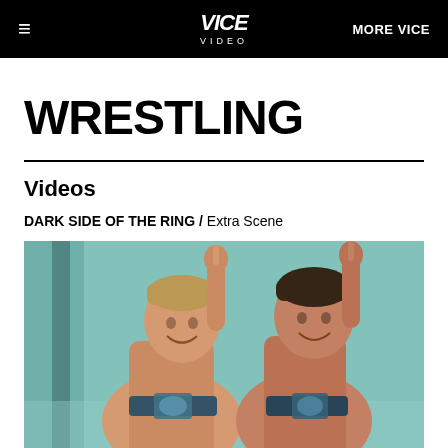≡  VICE VIDEO  MORE VICE
WRESTLING
Videos
DARK SIDE OF THE RING / Extra Scene
[Figure (photo): Two male wrestlers smiling and posing with one finger pointed up, wearing shiny championship belts, photographed in what appears to be a locker room with a teal/mint green wall]